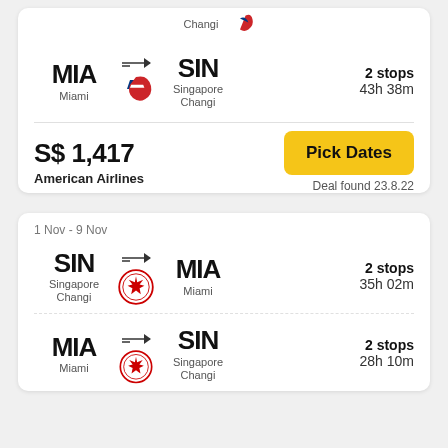MIA → SIN | Miami → Singapore Changi | 2 stops | 43h 38m
S$ 1,417 | American Airlines | Pick Dates | Deal found 23.8.22
1 Nov - 9 Nov
SIN → MIA | Singapore Changi → Miami | 2 stops | 35h 02m
MIA → SIN | Miami → Singapore Changi | 2 stops | 28h 10m